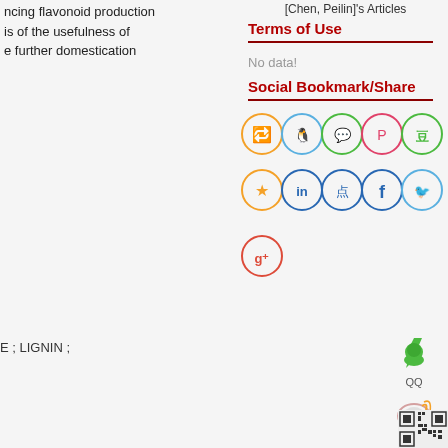ncing flavonoid production
is of the usefulness of
e further domestication
[Chen, Peilin]'s Articles
Terms of Use
No data!
Social Bookmark/Share
[Figure (infographic): Social media sharing icons in circles: Weibo (orange), QQ (blue), WeChat (green), Pinterest (red), Douban (green), Favorites (yellow star), LinkedIn (blue), Diandian (blue), Facebook (blue), Twitter (blue), Google+ (red)]
E ; LIGNIN ;
[Figure (infographic): QQ green tree icon with label 'QQ', Weibo icon with label 'Weibo', QR code image]
QQ
Weibo